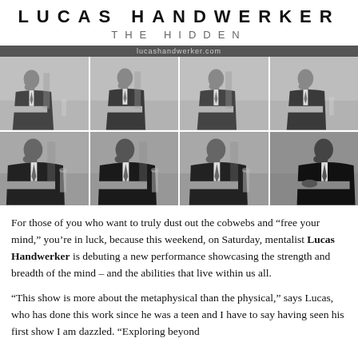LUCAS HANDWERKER
THE HIDDEN
[Figure (photo): Black and white photo strip of Lucas Handwerker in a suit, seated at a table, repeated in 8 panels arranged in 2 rows of 4, above lucashandwerker.com URL bar]
For those of you who want to truly dust out the cobwebs and “free your mind,” you’re in luck, because this weekend, on Saturday, mentalist Lucas Handwerker is debuting a new performance showcasing the strength and breadth of the mind – and the abilities that live within us all.
“This show is more about the metaphysical than the physical,” says Lucas, who has done this work since he was a teen and I have to say having seen his first show I am dazzled. “Exploring beyond…